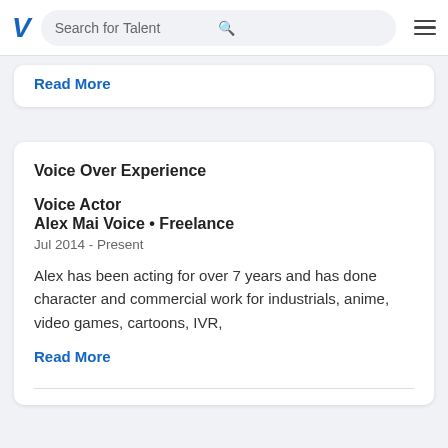V  Search for Talent
Read More
Voice Over Experience
Voice Actor
Alex Mai Voice • Freelance
Jul 2014 - Present
Alex has been acting for over 7 years and has done character and commercial work for industrials, anime, video games, cartoons, IVR,
Read More